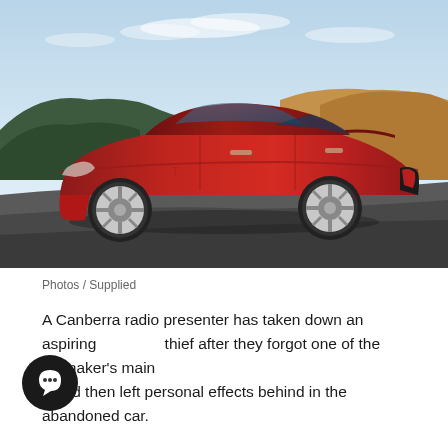[Figure (photo): Red Tesla Model 3 sedan parked on a road with hills and golden dry grass in background, light blue sky with wispy clouds. Side profile view showing sleek design with silver multi-spoke wheels.]
Photos / Supplied
A Canberra radio presenter has taken down an aspiring thief after they forgot one of the carmaker's main – and then left personal effects behind in the abandoned car.